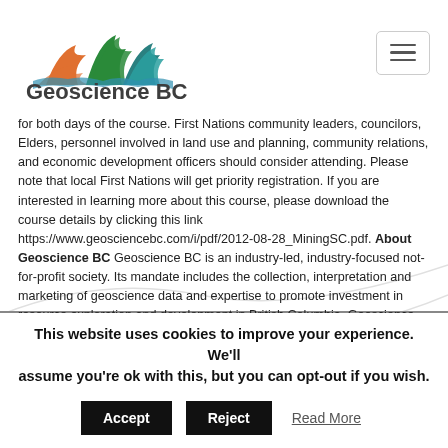[Figure (logo): Geoscience BC logo with mountain peaks in orange, green, and teal, with text 'Geoscience BC' below]
for both days of the course. First Nations community leaders, councilors, Elders, personnel involved in land use and planning, community relations, and economic development officers should consider attending. Please note that local First Nations will get priority registration. If you are interested in learning more about this course, please download the course details by clicking this link https://www.geosciencebc.com/i/pdf/2012-08-28_MiningSC.pdf. About Geoscience BC Geoscience BC is an industry-led, industry-focused not-for-profit society. Its mandate includes the collection, interpretation and marketing of geoscience data and expertise to promote investment in resource exploration and development in British Columbia. Geoscience BC is funded through grants from the Provincial Government and works in partnership with industry, academia, government, First Nations and communities to attract mineral and oil & gas investment to BC. www.geosciencebc.com
This website uses cookies to improve your experience. We'll assume you're ok with this, but you can opt-out if you wish.